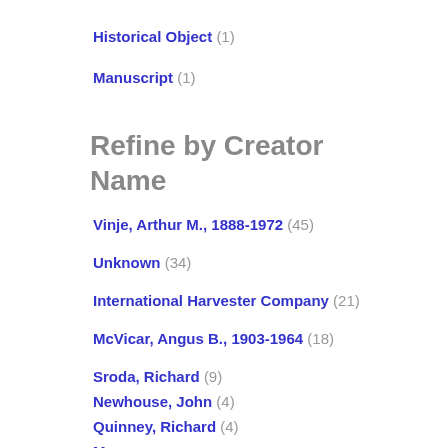Historical Object (1)
Manuscript (1)
Refine by Creator Name
Vinje, Arthur M., 1888-1972 (45)
Unknown (34)
International Harvester Company (21)
McVicar, Angus B., 1903-1964 (18)
Sroda, Richard (9)
Newhouse, John (4)
Quinney, Richard (4)
More...